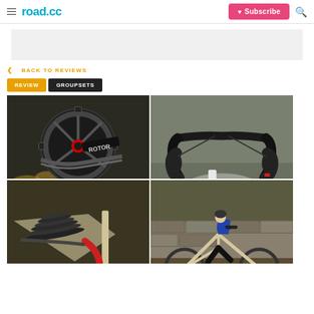road.cc | Subscribe | Search
BACK TO REVIEWS
REVIEW  GROUPSETS
[Figure (photo): Four-panel photo grid showing Rotor cycling groupset components: top-left shows Rotor chainring/crankset on a bicycle, top-right shows handlebars with brake levers and shifters, bottom-left shows cassette and rear derailleur detail, bottom-right shows a cyclist riding a gravel/road bike.]